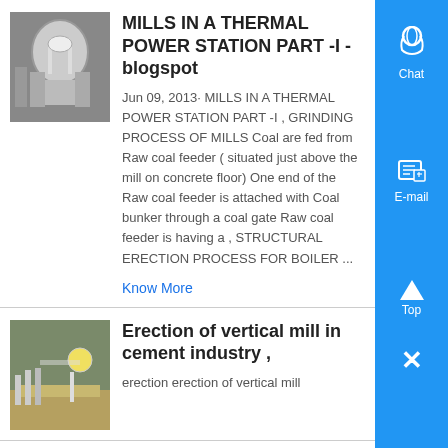MILLS IN A THERMAL POWER STATION PART -I - blogspot
Jun 09, 2013· MILLS IN A THERMAL POWER STATION PART -I , GRINDING PROCESS OF MILLS Coal are fed from Raw coal feeder ( situated just above the mill on concrete floor) One end of the Raw coal feeder is attached with Coal bunker through a coal gate Raw coal feeder is having a , STRUCTURAL ERECTION PROCESS FOR BOILER ...
Know More
Erection of vertical mill in cement industry ,
erection erection of vertical mill